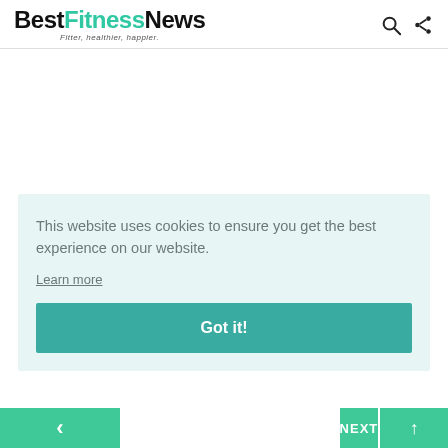BestFitnessNews — Fitter, healthier, happier.
This website uses cookies to ensure you get the best experience on our website.
Learn more
Got it!